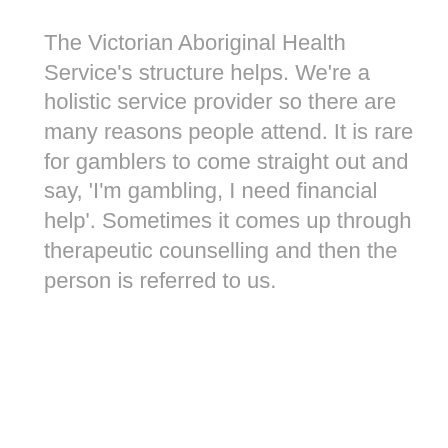The Victorian Aboriginal Health Service's structure helps. We're a holistic service provider so there are many reasons people attend. It is rare for gamblers to come straight out and say, 'I'm gambling, I need financial help'. Sometimes it comes up through therapeutic counselling and then the person is referred to us.
One of our counsellors had a client referred to her through a dentist. We laughed. We're thinking, how did the dentist get this person to open up? And how did they do it with their mouth full of dental equipment?!
That's where community comes into it. Generally, our clients have already built up relationships and trust with other Victorian Aboriginal Health Service